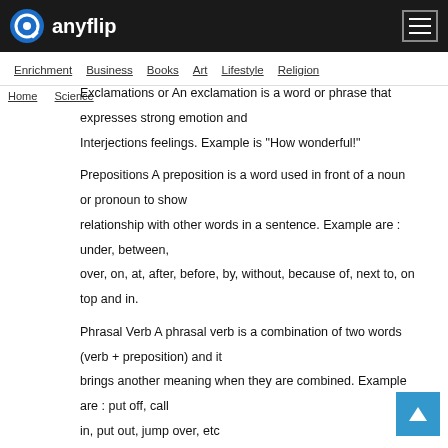anyflip
Enrichment  Business  Books  Art  Lifestyle  Religion
Home  Science
Exclamations or An exclamation is a word or phrase that expresses strong emotion and
Interjections feelings. Example is “How wonderful!”
Prepositions A preposition is a word used in front of a noun or pronoun to show
relationship with other words in a sentence. Example are : under, between,
over, on, at, after, before, by, without, because of, next to, on top and in.
Phrasal Verb A phrasal verb is a combination of two words (verb + preposition) and it
brings another meaning when they are combined. Example are : put off, call
in, put out, jump over, etc